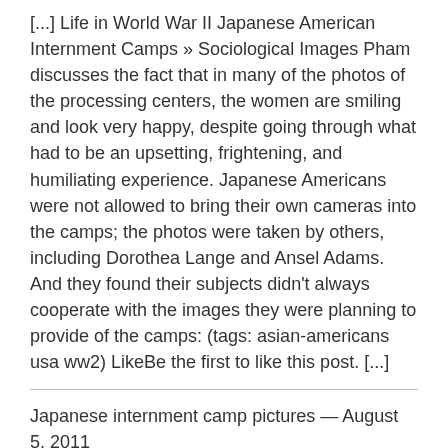[...] Life in World War II Japanese American Internment Camps » Sociological Images Pham discusses the fact that in many of the photos of the processing centers, the women are smiling and look very happy, despite going through what had to be an upsetting, frightening, and humiliating experience. Japanese Americans were not allowed to bring their own cameras into the camps; the photos were taken by others, including Dorothea Lange and Ansel Adams. And they found their subjects didn't always cooperate with the images they were planning to provide of the camps: (tags: asian-americans usa ww2) LikeBe the first to like this post. [...]
Japanese internment camp pictures — August 5, 2011
[...] Life in World War II Japanese American Internment Camps … Mar 5, 2011 … Walking to school at the Manzanar camp: … their own cameras into the camps; the photos were taken by others, … Film on WWII Japanese American Internment Camps · Chinese Laundry … [...]